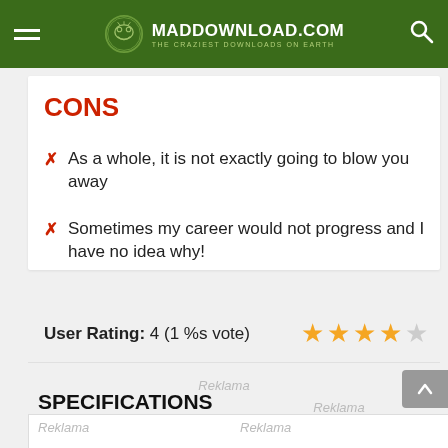MADDOWNLOAD.COM THE CRAZIEST DOWNLOADS ON EARTH
CONS
As a whole, it is not exactly going to blow you away
Sometimes my career would not progress and I have no idea why!
User Rating: 4 (1 %s vote)
Reklama
Reklama
SPECIFICATIONS
Reklama
Reklama